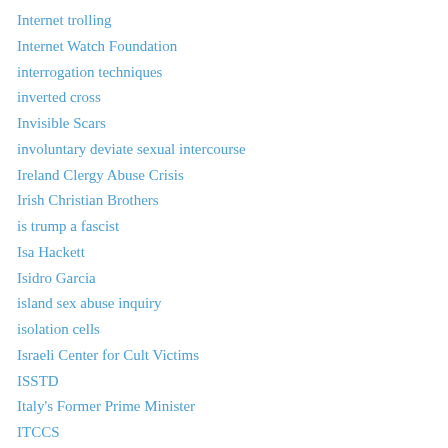Internet trolling
Internet Watch Foundation
interrogation techniques
inverted cross
Invisible Scars
involuntary deviate sexual intercourse
Ireland Clergy Abuse Crisis
Irish Christian Brothers
is trump a fascist
Isa Hackett
Isidro Garcia
island sex abuse inquiry
isolation cells
Israeli Center for Cult Victims
ISSTD
Italy's Former Prime Minister
ITCCS
ITV network
Ivan Yates
Izzy's Promise